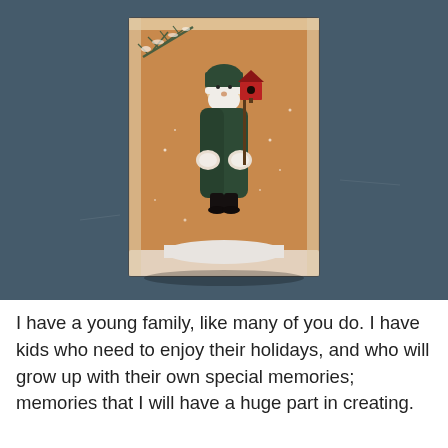[Figure (photo): A photo of a decorative wooden Santa Claus holiday ornament or plaque mounted on a dark teal/blue-gray painted wooden wall. The Santa figure is painted on a burlap or textured fabric background with an orange/tan color. Santa wears a dark green coat, holds fluffy white mittens, and carries a red birdhouse. There are pine branches in the upper corner and a snowy scene at the bottom.]
I have a young family, like many of you do. I have kids who need to enjoy their holidays, and who will grow up with their own special memories; memories that I will have a huge part in creating.